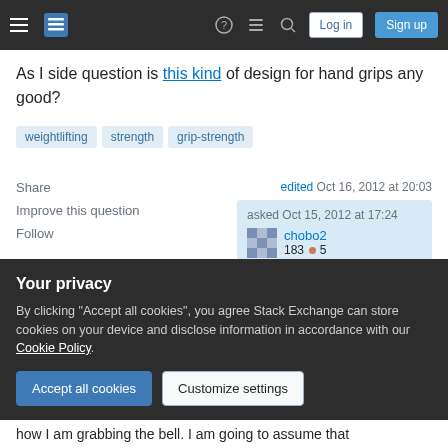Stack Exchange navigation bar with hamburger menu, logo, icons, Log in, Sign up buttons
As I side question is this kind of design for hand grips any good?
weightlifting
strength
grip-strength
Share   Improve this question   Follow
edited Oct 16, 2012 at 20:03
asked Oct 15, 2012 at 17:24
chobo2
183 ● 5
Your privacy
By clicking "Accept all cookies", you agree Stack Exchange can store cookies on your device and disclose information in accordance with our Cookie Policy.
Accept all cookies   Customize settings
how I am grabbing the bell. I am going to assume that